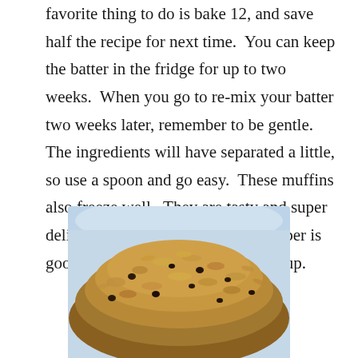favorite thing to do is bake 12, and save half the recipe for next time.  You can keep the batter in the fridge for up to two weeks.  When you go to re-mix your batter two weeks later, remember to be gentle.  The ingredients will have separated a little, so use a spoon and go easy.  These muffins also freeze well.  They are tasty and super delicious when they're hot.  High fiber is good for your system, and fills you up.
[Figure (photo): A close-up photo of granola with raisins/dried fruit in a light blue bowl, viewed from above at an angle, showing oats, seeds, and dark raisins piled high.]